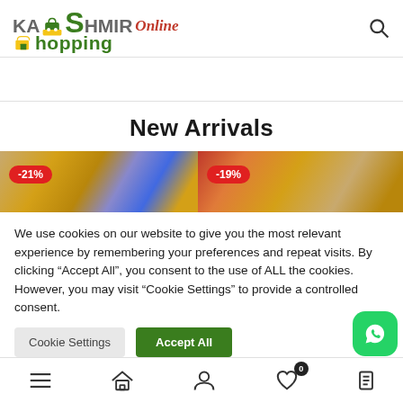[Figure (logo): Kashmir Online Shopping logo with shopping cart icon, green S letter, and italic red 'Online' text]
[Figure (illustration): Search icon (magnifying glass) in top right header]
[Figure (photo): Product image with -21% badge, singing bowls with blue fabric]
[Figure (photo): Product image with -19% badge, golden bowls with red fabric]
New Arrivals
We use cookies on our website to give you the most relevant experience by remembering your preferences and repeat visits. By clicking “Accept All”, you consent to the use of ALL the cookies. However, you may visit “Cookie Settings” to provide a controlled consent.
[Figure (infographic): Bottom navigation bar with hamburger menu, home icon, user icon, heart with badge 0, and partial icon]
[Figure (infographic): WhatsApp floating button (green rounded square with WhatsApp icon)]